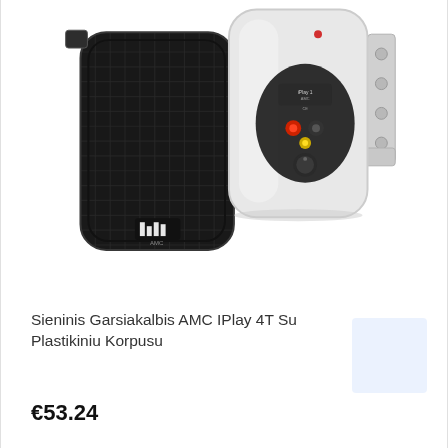[Figure (photo): Two AMC IPlay 4T wall-mount speakers side by side — one black (front view showing grille and AMC logo) and one white (rear view showing connection terminals and mounting bracket)]
Sieninis Garsiakalbis AMC IPlay 4T Su Plastikiniu Korpusu
€53.24